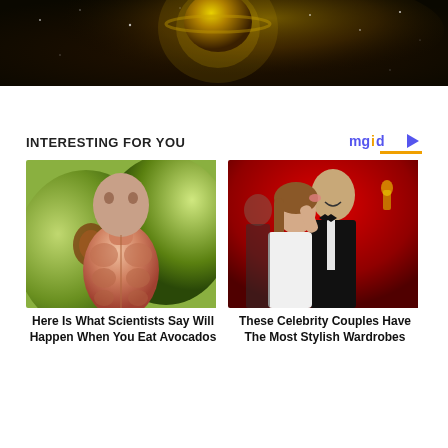[Figure (photo): Dark space/galaxy image with bright planet or celestial body in center against starry golden-toned nebula background]
INTERESTING FOR YOU
[Figure (logo): mgid logo with play button icon and yellow underline]
[Figure (photo): Digital illustration of human muscular anatomy torso in front of avocado halves background]
Here Is What Scientists Say Will Happen When You Eat Avocados
[Figure (photo): Celebrity couple at formal event, woman in white dress kissing man in tuxedo on cheek, red background]
These Celebrity Couples Have The Most Stylish Wardrobes